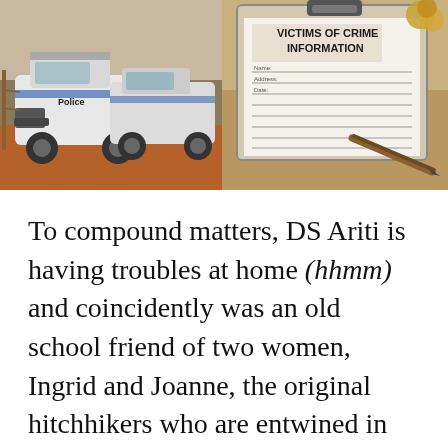[Figure (photo): Two side-by-side photos: left shows white Police 4WD vehicles parked on red dirt ground in an outback setting; right shows a clipboard with a 'Victims of Crime Information' form and a pen resting on it.]
To compound matters, DS Ariti is having troubles at home (hhmm) and coincidently was an old school friend of two women, Ingrid and Joanne, the original hitchhikers who are entwined in the cold case. Joanne is now a high-profile celebrity. Also Ariti has Superintendent Conti breathing down his neck asking for updates at every turn.